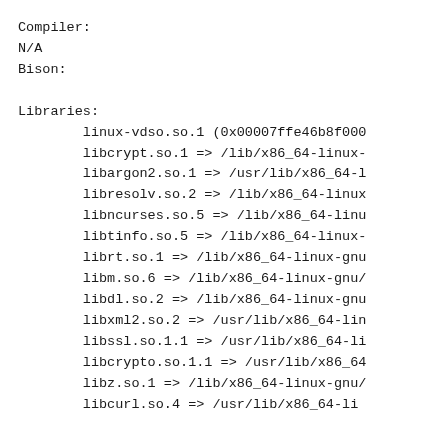Compiler:
N/A
Bison:
Libraries:
        linux-vdso.so.1 (0x00007ffe46b8f000
        libcrypt.so.1 => /lib/x86_64-linux-
        libargon2.so.1 => /usr/lib/x86_64-l
        libresolv.so.2 => /lib/x86_64-linux
        libncurses.so.5 => /lib/x86_64-linu
        libtinfo.so.5 => /lib/x86_64-linux-
        librt.so.1 => /lib/x86_64-linux-gnu
        libm.so.6 => /lib/x86_64-linux-gnu/
        libdl.so.2 => /lib/x86_64-linux-gnu
        libxml2.so.2 => /usr/lib/x86_64-lin
        libssl.so.1.1 => /usr/lib/x86_64-li
        libcrypto.so.1.1 => /usr/lib/x86_64
        libz.so.1 => /lib/x86_64-linux-gnu/
        libcurl.so.4 => /usr/lib/x86_64-li